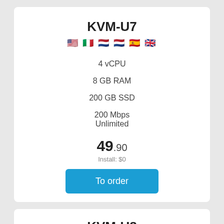KVM-U7
[Figure (illustration): Row of country flag emoji icons: US, Italy, Netherlands, Netherlands, Spain, UK]
4 vCPU
8 GB RAM
200 GB SSD
200 Mbps
Unlimited
49.90
Install: $0
To order
KVM-U8
[Figure (illustration): Row of country flag emoji icons: US, Italy, Netherlands, Spain, UK (partially visible)]